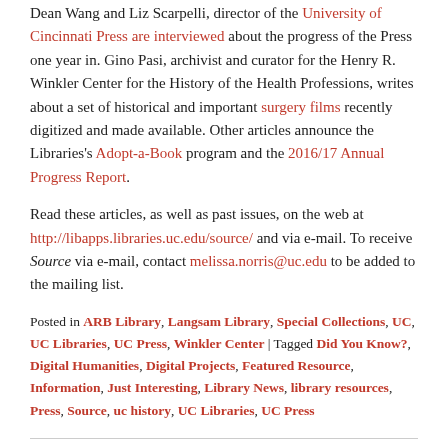Dean Wang and Liz Scarpelli, director of the University of Cincinnati Press are interviewed about the progress of the Press one year in. Gino Pasi, archivist and curator for the Henry R. Winkler Center for the History of the Health Professions, writes about a set of historical and important surgery films recently digitized and made available. Other articles announce the Libraries's Adopt-a-Book program and the 2016/17 Annual Progress Report.
Read these articles, as well as past issues, on the web at http://libapps.libraries.uc.edu/source/ and via e-mail. To receive Source via e-mail, contact melissa.norris@uc.edu to be added to the mailing list.
Posted in ARB Library, Langsam Library, Special Collections, UC, UC Libraries, UC Press, Winkler Center | Tagged Did You Know?, Digital Humanities, Digital Projects, Featured Resource, Information, Just Interesting, Library News, library resources, Press, Source, uc history, UC Libraries, UC Press